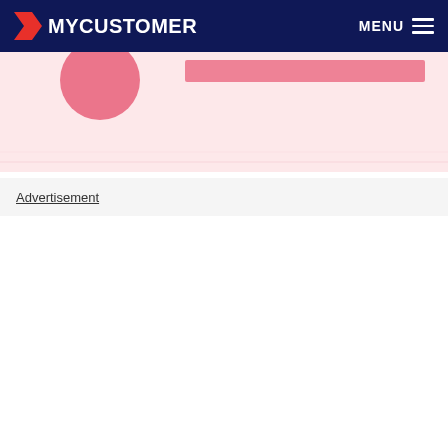MYCUSTOMER  MENU
[Figure (illustration): Partial pink/rose-toned image strip, partially cropped, with a pink circular element on the left and a pink/red horizontal bar on the right side, all on a light pink background.]
Advertisement